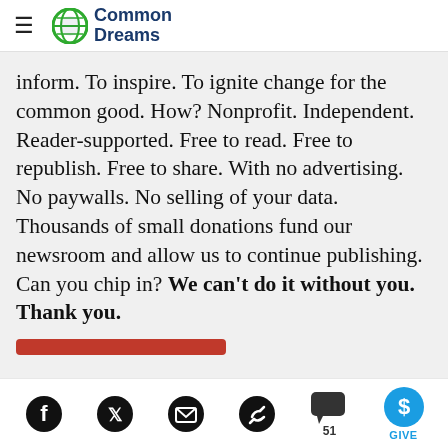Common Dreams
inform. To inspire. To ignite change for the common good. How? Nonprofit. Independent. Reader-supported. Free to read. Free to republish. Free to share. With no advertising. No paywalls. No selling of your data. Thousands of small donations fund our newsroom and allow us to continue publishing. Can you chip in? We can't do it without you. Thank you.
Facebook, Twitter, Email, Link, Comments (51), GIVE